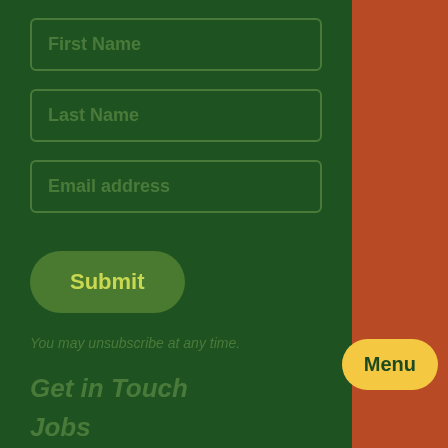First Name
Last Name
Email address
Submit
You may unsubscribe at any time.
Get in Touch
Jobs
Annual Reports
Policies
Menu